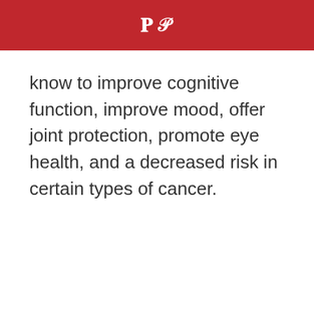know to improve cognitive function, improve mood, offer joint protection, promote eye health, and a decreased risk in certain types of cancer.